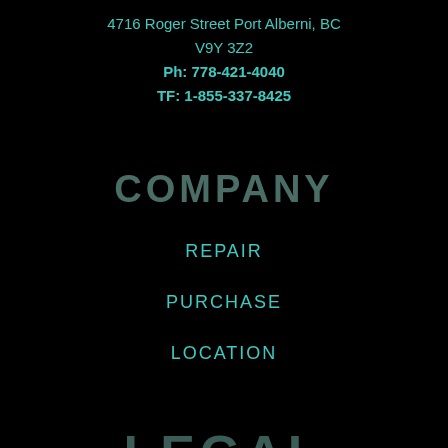4716 Roger Street Port Alberni, BC
V9Y 3Z2
Ph: 778-421-4040
TF: 1-855-337-8425
COMPANY
REPAIR
PURCHASE
LOCATION
LEGAL